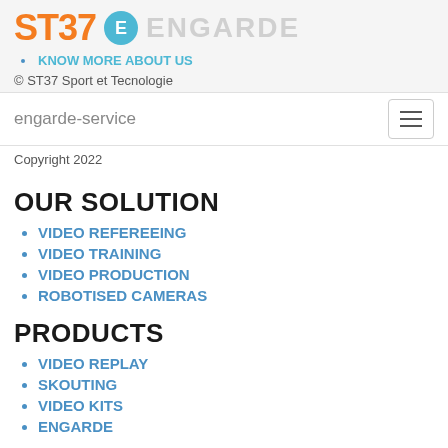ST37 E ENGARDE
KNOW MORE ABOUT US
© ST37 Sport et Tecnologie
engarde-service
Copyright 2022
OUR SOLUTION
VIDEO REFEREEING
VIDEO TRAINING
VIDEO PRODUCTION
ROBOTISED CAMERAS
PRODUCTS
VIDEO REPLAY
SKOUTING
VIDEO KITS
ENGARDE
ST37
BE THE FIRST